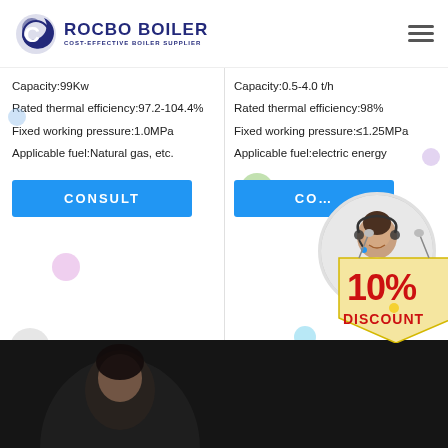[Figure (logo): Rocbo Boiler logo with crescent moon icon and text 'ROCBO BOILER - COST-EFFECTIVE BOILER SUPPLIER']
Capacity:99Kw
Rated thermal efficiency:97.2-104.4%
Fixed working pressure:1.0MPa
Applicable fuel:Natural gas, etc.
Capacity:0.5-4.0 t/h
Rated thermal efficiency:98%
Fixed working pressure:≤1.25MPa
Applicable fuel:electric energy
[Figure (illustration): 10% DISCOUNT badge/label in red and gold]
[Figure (photo): Customer service representative wearing headset, smiling]
[Figure (photo): Person in dark background, bottom strip photo]